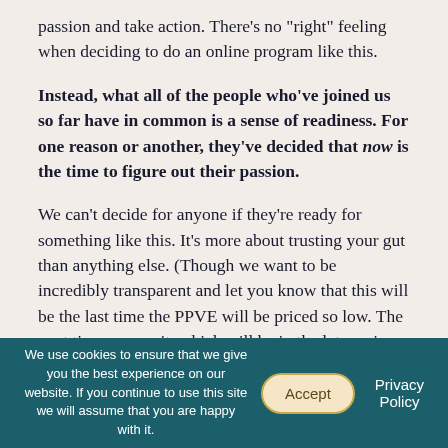passion and take action. There’s no “right” feeling when deciding to do an online program like this.
Instead, what all of the people who’ve joined us so far have in common is a sense of readiness. For one reason or another, they’ve decided that now is the time to figure out their passion.
We can’t decide for anyone if they’re ready for something like this. It’s more about trusting your gut than anything else. (Though we want to be incredibly transparent and let you know that this will be the last time the PPVE will be priced so low. The next time we run it, which will be in the late spring-ish, we’re intending to increase the price by at least $100. So, if
We use cookies to ensure that we give you the best experience on our website. If you continue to use this site we will assume that you are happy with it.
Accept
Privacy Policy